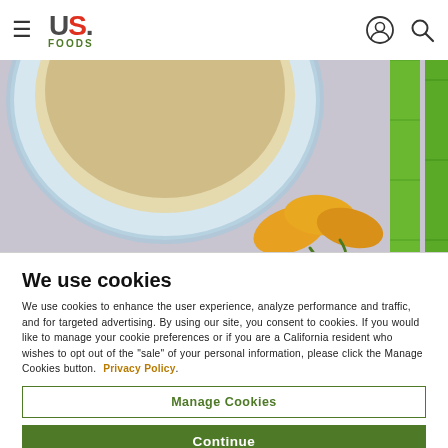[Figure (photo): US Foods website header/navbar with hamburger menu icon, US Foods logo (US in dark with red period, FOODS in green), and user account and search icons on the right]
[Figure (photo): Overhead food photo showing a plate of hummus with yellow/orange mini peppers and celery stalks on a light purple/grey background]
We use cookies
We use cookies to enhance the user experience, analyze performance and traffic, and for targeted advertising. By using our site, you consent to cookies. If you would like to manage your cookie preferences or if you are a California resident who wishes to opt out of the "sale" of your personal information, please click the Manage Cookies button.  Privacy Policy.
Manage Cookies
Continue